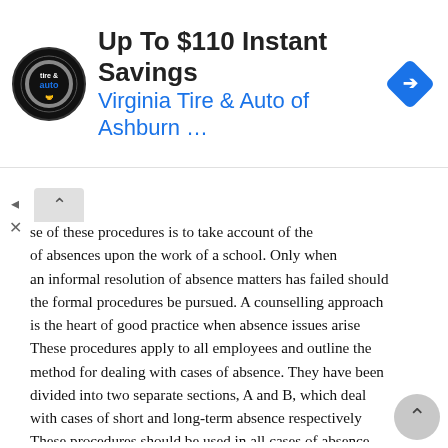[Figure (infographic): Advertisement banner for Virginia Tire & Auto of Ashburn showing logo, 'Up To $110 Instant Savings' headline, and a blue navigation arrow icon on the right.]
se of these procedures is to take account of the effect of absences upon the work of a school. Only when an informal resolution of absence matters has failed should the formal procedures be pursued. A counselling approach is the heart of good practice when absence issues arise These procedures apply to all employees and outline the method for dealing with cases of absence. They have been divided into two separate sections, A and B, which deal with cases of short and long-term absence respectively These procedures should be used in all cases of absence except where an alternative procedure would be more applicable, e.g. alcohol/ drug misuse In cases of industrial injury the long term absence procedure will normally be applied except where an employee has a record of unrelated industrial injuries which should be considered in accordance with the short-term absence procedure. Monitoring and Control 2.1. Detailed records must be kept to show an individual s level of absence and the reasons for absence in any one continuous period of time.